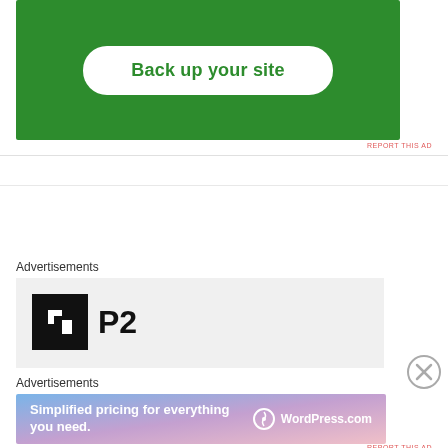[Figure (screenshot): Green advertisement banner with white rounded button reading 'Back up your site']
REPORT THIS AD
[Figure (screenshot): P2 logo advertisement on light gray background showing black square icon with white square cutout and 'P2' text]
Advertisements
[Figure (screenshot): WordPress.com advertisement with gradient blue-pink background: 'Simplified pricing for everything you need.' with WordPress.com logo]
Advertisements
REPORT THIS AD